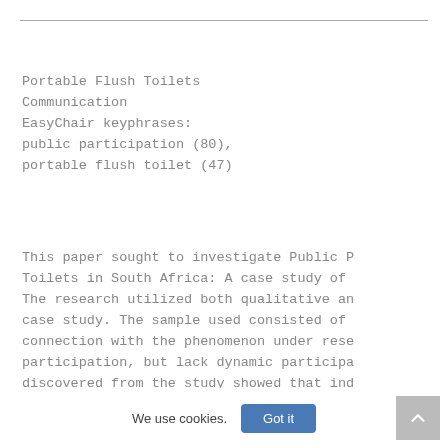Portable Flush Toilets
Communication
EasyChair keyphrases:
public participation (80),
portable flush toilet (47)
This paper sought to investigate Public P Toilets in South Africa: A case study of The research utilized both qualitative an case study. The sample used consisted of connection with the phenomenon under rese participation, but lack dynamic participa discovered from the study showed that ind installation of these portable flush toil
We use cookies.